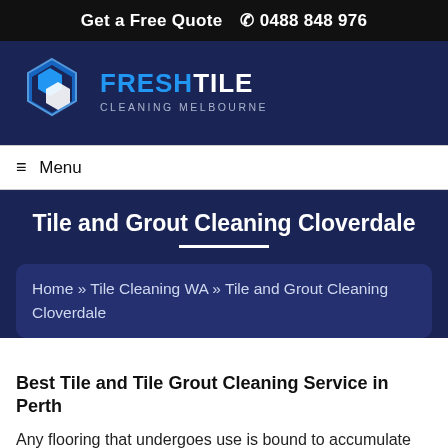Get a Free Quote  ✆ 0488 848 976
[Figure (logo): Fresh Tile Cleaning Melbourne logo with hexagon shapes in blue and white]
≡ Menu
Tile and Grout Cleaning Cloverdale
Home » Tile Cleaning WA » Tile and Grout Cleaning Cloverdale
Best Tile and Tile Grout Cleaning Service in Perth
Any flooring that undergoes use is bound to accumulate dirt, odours and stains and some of them